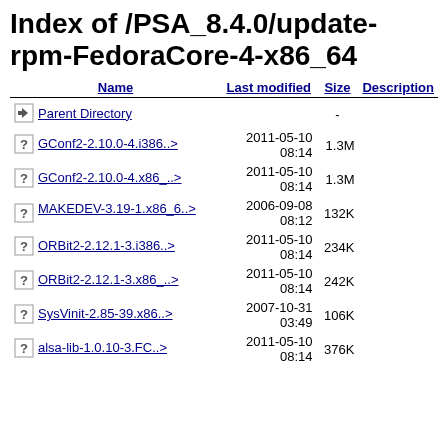Index of /PSA_8.4.0/update-rpm-FedoraCore-4-x86_64
| Name | Last modified | Size | Description |
| --- | --- | --- | --- |
| Parent Directory |  | - |  |
| GConf2-2.10.0-4.i386..> | 2011-05-10 08:14 | 1.3M |  |
| GConf2-2.10.0-4.x86_..> | 2011-05-10 08:14 | 1.3M |  |
| MAKEDEV-3.19-1.x86_6..> | 2006-09-08 08:12 | 132K |  |
| ORBit2-2.12.1-3.i386..> | 2011-05-10 08:14 | 234K |  |
| ORBit2-2.12.1-3.x86_..> | 2011-05-10 08:14 | 242K |  |
| SysVinit-2.85-39.x86..> | 2007-10-31 03:49 | 106K |  |
| alsa-lib-1.0.10-3.FC..> | 2011-05-10 08:14 | 376K |  |